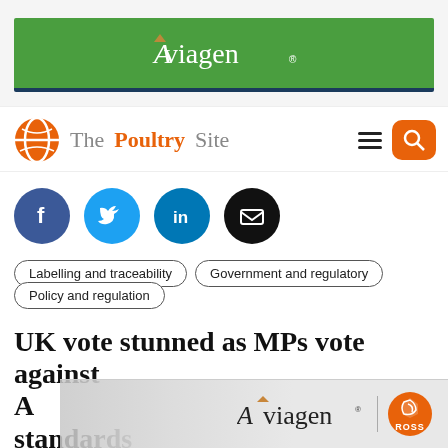[Figure (logo): Aviagen green advertisement banner at top of page]
[Figure (logo): The Poultry Site logo with orange globe icon, navigation hamburger menu and orange search button]
[Figure (infographic): Row of social media sharing icons: Facebook (dark blue), Twitter (light blue), LinkedIn (teal blue), Email (black)]
Labelling and traceability
Government and regulatory
Policy and regulation
UK vote stunned as MPs vote against A... standards
[Figure (logo): Aviagen Ross bottom advertisement overlay]